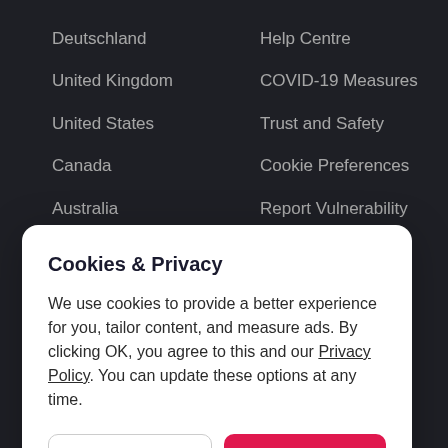Deutschland
United Kingdom
United States
Canada
Australia
France
Help Centre
COVID-19 Measures
Trust and Safety
Cookie Preferences
Report Vulnerability
Cookies & Privacy
We use cookies to provide a better experience for you, tailor content, and measure ads. By clicking OK, you agree to this and our Privacy Policy. You can update these options at any time.
Cookie Preferences
OK